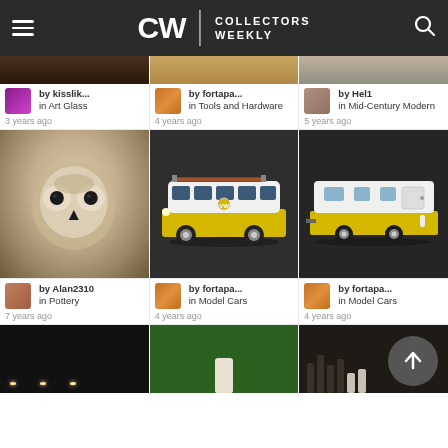CW | COLLECTORS WEEKLY
[Figure (screenshot): Three partial collection item images at top]
by kisslik... in Art Glass
3 years ago
by fortapa... in Tools and Hardware
4 years ago
by Hel1 in Mid-Century Modern
5 years ago
[Figure (photo): Close-up of an owl-faced ceramic or glass piece, beige/brown tones]
[Figure (photo): Yellow and white VW bus model car with surfboard on roof, dark background]
[Figure (photo): Yellow and white vintage camper trailer model, dark background]
by Alan2310 in Pottery
7 years ago
by fortapa... in Model Cars
4 years ago
by fortapa... in Model Cars
4 years ago
[Figure (photo): Three partial collection item images at bottom — dark with lights, green surface, dark with bottles]
[Figure (illustration): Scroll-to-top circular button with upward arrow]